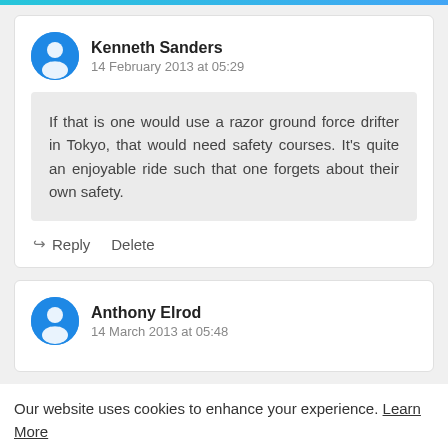Kenneth Sanders
14 February 2013 at 05:29
If that is one would use a razor ground force drifter in Tokyo, that would need safety courses. It's quite an enjoyable ride such that one forgets about their own safety.
Reply   Delete
Anthony Elrod
14 March 2013 at 05:48
Our website uses cookies to enhance your experience. Learn More
Accept !